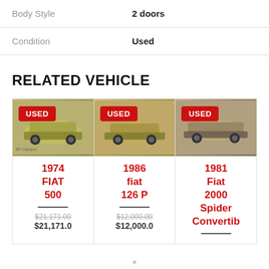| Attribute | Value |
| --- | --- |
| Body Style | 2 doors |
| Condition | Used |
RELATED VEHICLE
[Figure (photo): 1974 FIAT 500 used car card with photo, USED badge, price $21,171.00]
[Figure (photo): 1986 fiat 126 P used car card with photo, USED badge, price $12,000.00]
[Figure (photo): 1981 Fiat 2000 Spider Convertible used car card with photo, USED badge]